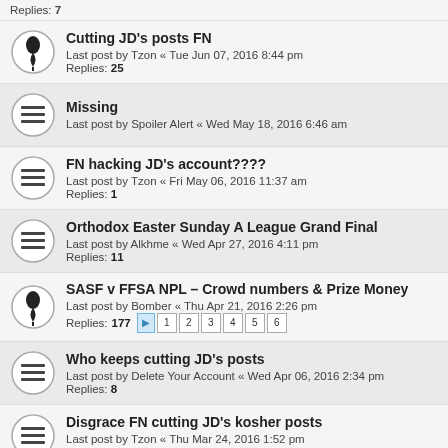Replies: 7
Cutting JD's posts FN
Last post by Tzon « Tue Jun 07, 2016 8:44 pm
Replies: 25
Missing
Last post by Spoiler Alert « Wed May 18, 2016 6:46 am
FN hacking JD's account????
Last post by Tzon « Fri May 06, 2016 11:37 am
Replies: 1
Orthodox Easter Sunday A League Grand Final
Last post by Alkhme « Wed Apr 27, 2016 4:11 pm
Replies: 11
SASF v FFSA NPL – Crowd numbers & Prize Money
Last post by Bomber « Thu Apr 21, 2016 2:26 pm
Replies: 177
Who keeps cutting JD's posts
Last post by Delete Your Account « Wed Apr 06, 2016 2:34 pm
Replies: 8
Disgrace FN cutting JD's kosher posts
Last post by Tzon « Thu Mar 24, 2016 1:52 pm
Replies: 8